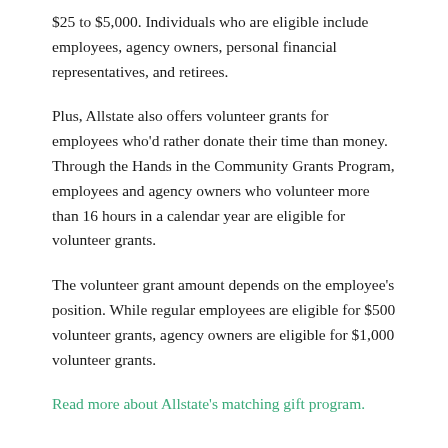$25 to $5,000. Individuals who are eligible include employees, agency owners, personal financial representatives, and retirees.
Plus, Allstate also offers volunteer grants for employees who'd rather donate their time than money. Through the Hands in the Community Grants Program, employees and agency owners who volunteer more than 16 hours in a calendar year are eligible for volunteer grants.
The volunteer grant amount depends on the employee's position. While regular employees are eligible for $500 volunteer grants, agency owners are eligible for $1,000 volunteer grants.
Read more about Allstate's matching gift program.